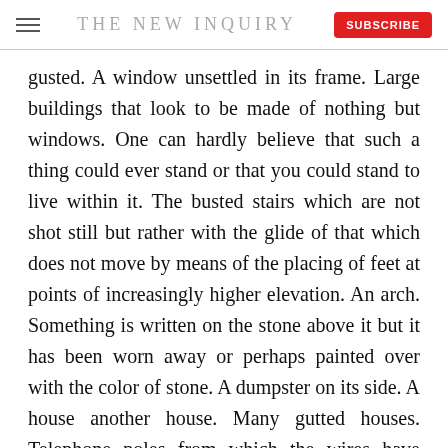THE NEW INQUIRY
gusted. A window unsettled in its frame. Large buildings that look to be made of nothing but windows. One can hardly believe that such a thing could ever stand or that you could stand to live within it. The busted stairs which are not shot still but rather with the glide of that which does not move by means of the placing of feet at points of increasingly higher elevation. An arch. Something is written on the stone above it but it has been worn away or perhaps painted over with the color of stone. A dumpster on its side. A house another house. Many gutted houses. Telephone poles from which the wires have fallen. Doors of iron or fallen doors of wood that hang heavy on their chalken hinges. A chair left